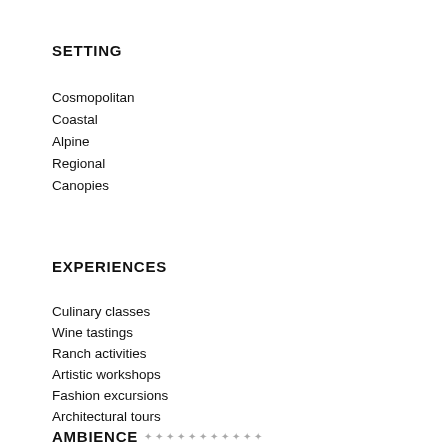SETTING
Cosmopolitan
Coastal
Alpine
Regional
Canopies
EXPERIENCES
Culinary classes
Wine tastings
Ranch activities
Artistic workshops
Fashion excursions
Architectural tours
AMBIENCE